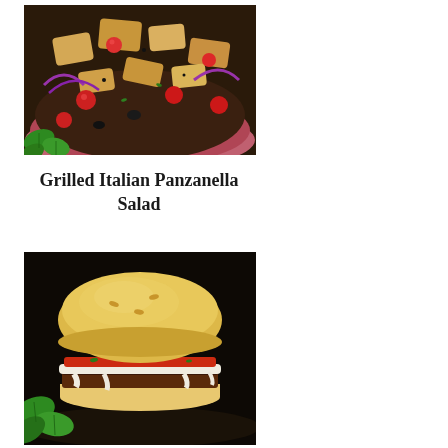[Figure (photo): Close-up photo of a bowl of Grilled Italian Panzanella Salad with bread chunks, tomatoes, red onion, and fresh basil leaves]
Grilled Italian Panzanella Salad
[Figure (photo): Close-up photo of a burger with melted mozzarella cheese, tomato sauce, and basil on a bun, placed on a dark surface with fresh basil leaves beside it]